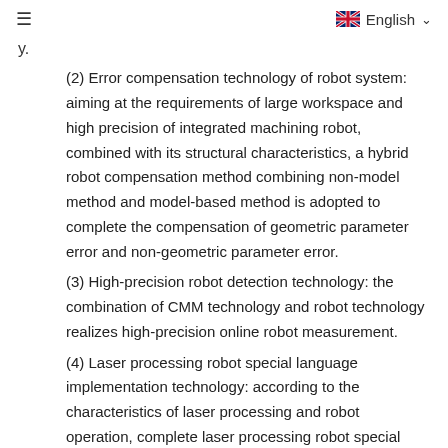≡   English ∨
y.
(2) Error compensation technology of robot system: aiming at the requirements of large workspace and high precision of integrated machining robot, combined with its structural characteristics, a hybrid robot compensation method combining non-model method and model-based method is adopted to complete the compensation of geometric parameter error and non-geometric parameter error.
(3) High-precision robot detection technology: the combination of CMM technology and robot technology realizes high-precision online robot measurement.
(4) Laser processing robot special language implementation technology: according to the characteristics of laser processing and robot operation, complete laser processing robot special language.
(5) Network communication and offline programming